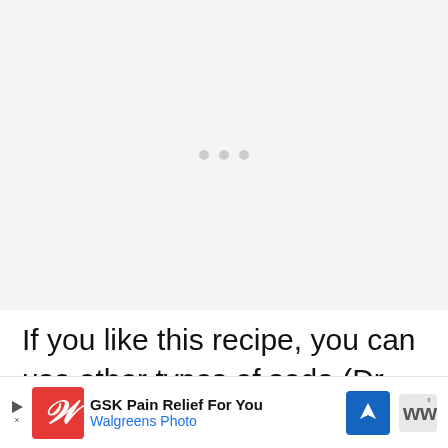[Figure (other): Loading placeholder area with three gray dots centered on a light gray background]
If you like this recipe, you can use other types of soda (Dr. Pepper, orange soda, etc.) in place of the Mountain Dew. I also ha... y you
[Figure (other): Advertisement banner: GSK Pain Relief For You - Walgreens Photo, with Walgreens logo, map icon, and brand icon]